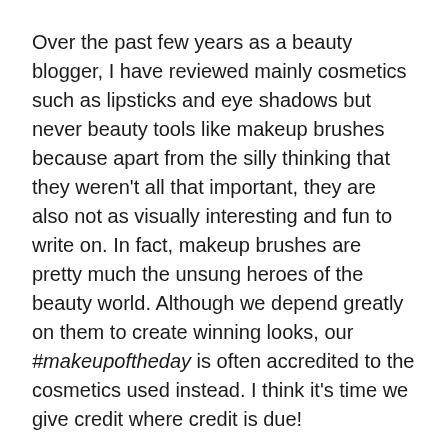Over the past few years as a beauty blogger, I have reviewed mainly cosmetics such as lipsticks and eye shadows but never beauty tools like makeup brushes because apart from the silly thinking that they weren't all that important, they are also not as visually interesting and fun to write on. In fact, makeup brushes are pretty much the unsung heroes of the beauty world. Although we depend greatly on them to create winning looks, our #makeupoftheday is often accredited to the cosmetics used instead. I think it's time we give credit where credit is due!
Like many makeup rookies, I mainly relied on brushes that came with my eye shadow palettes when I first started out because I wasn't ready to invest in professional brushes yet. It was only after a series of minor eye infections